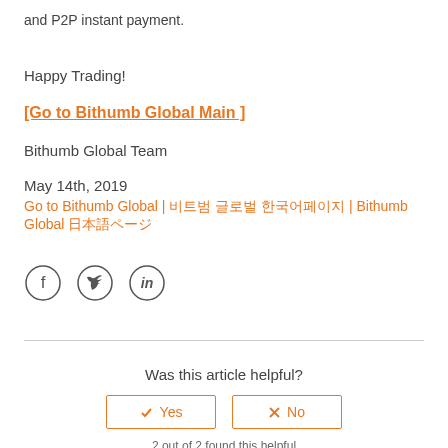and P2P instant payment.
Happy Trading!
[Go to Bithumb Global Main ]
Bithumb Global Team
May 14th, 2019
Go to Bithumb Global | 비트범 글로벌 한국어페이지 | Bithumb Global 日本語ページ
[Figure (other): Social media icons: Facebook, Twitter, LinkedIn in circles]
Was this article helpful?
Yes
No
2 out of 2 found this helpful